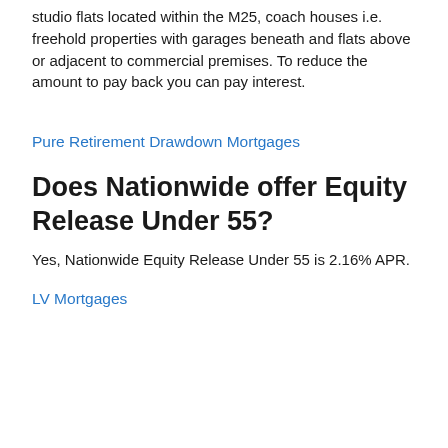studio flats located within the M25, coach houses i.e. freehold properties with garages beneath and flats above or adjacent to commercial premises. To reduce the amount to pay back you can pay interest.
Pure Retirement Drawdown Mortgages
Does Nationwide offer Equity Release Under 55?
Yes, Nationwide Equity Release Under 55 is 2.16% APR.
LV Mortgages